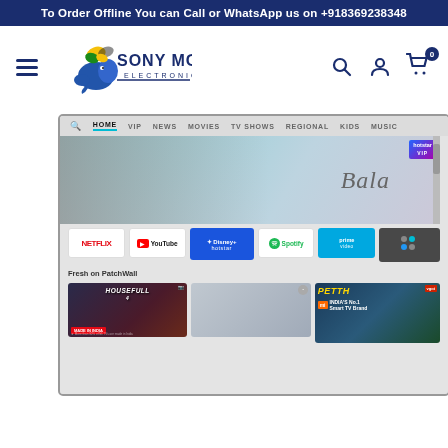To Order Offline You can Call or WhatsApp us on +918369238348
[Figure (logo): Sony Mony Electronics logo with elephant and butterfly]
[Figure (screenshot): Smart TV interface showing Hotstar with Bala movie banner, Netflix, YouTube, Disney+ Hotstar, Spotify, Prime Video app icons, Fresh on PatchWall section with Housefull 4, and India's No.1 Smart TV Brand Xiaomi promotion]